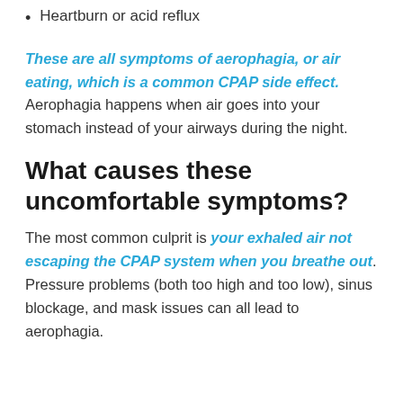Heartburn or acid reflux
These are all symptoms of aerophagia, or air eating, which is a common CPAP side effect. Aerophagia happens when air goes into your stomach instead of your airways during the night.
What causes these uncomfortable symptoms?
The most common culprit is your exhaled air not escaping the CPAP system when you breathe out. Pressure problems (both too high and too low), sinus blockage, and mask issues can all lead to aerophagia.